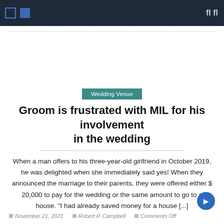Navigation bar with icons and search
Wedding Venue
Groom is frustrated with MIL for his involvement in the wedding
When a man offers to his three-year-old girlfriend in October 2019, he was delighted when she immediately said yes! When they announced the marriage to their parents, they were offered either $ 20,000 to pay for the wedding or the same amount to go to a house. "I had already saved money for a house [...]
November 21, 2021  Robert P. Campbell  Comments Off